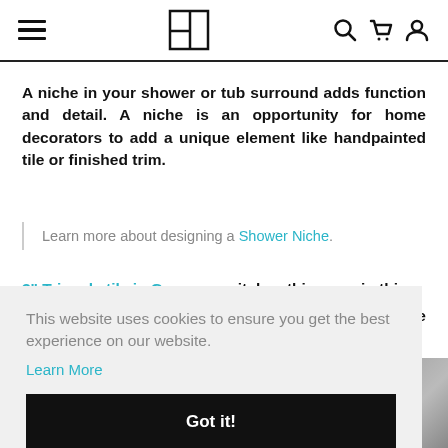Navigation header with hamburger menu, logo, search, cart, and user icons
A niche in your shower or tub surround adds function and detail. A niche is an opportunity for home decorators to add a unique element like handpainted tile or finished trim.
Learn more about designing a Shower Niche.
3" Triangle tile in Gypsum switches things up in this ... e tile
This website uses cookies to ensure you get the best experience on our website.
Learn More
Got it!